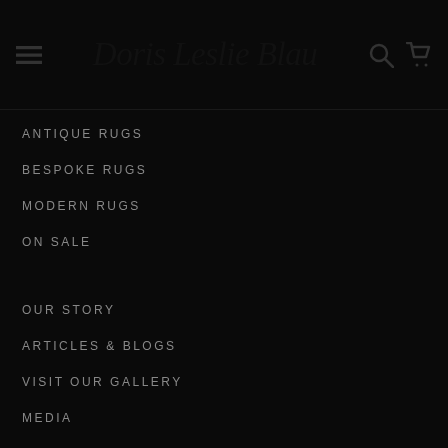Doris Leslie Blau
ANTIQUE RUGS
BESPOKE RUGS
MODERN RUGS
ON SALE
OUR STORY
ARTICLES & BLOGS
VISIT OUR GALLERY
MEDIA
CATALOGS
PRESS
PRIVACY POLICY